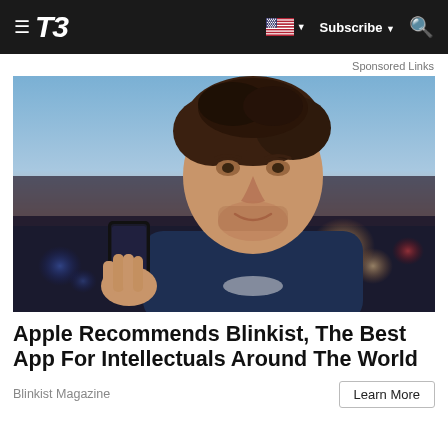T3 — Subscribe — Search
Sponsored Links
[Figure (photo): A smiling middle-aged man with stubble holding a smartphone, photographed outdoors with a blurred bokeh background of city lights at dusk. He is wearing a dark navy shirt.]
Apple Recommends Blinkist, The Best App For Intellectuals Around The World
Blinkist Magazine
Learn More